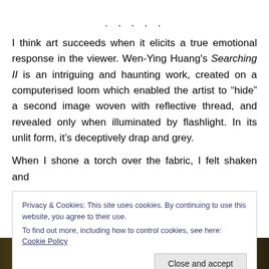. . . . .
I think art succeeds when it elicits a true emotional response in the viewer. Wen-Ying Huang's Searching II is an intriguing and haunting work, created on a computerised loom which enabled the artist to “hide” a second image woven with reflective thread, and revealed only when illuminated by flashlight. In its unlit form, it’s deceptively drap and grey.
When I shone a torch over the fabric, I felt shaken and
Privacy & Cookies: This site uses cookies. By continuing to use this website, you agree to their use.
To find out more, including how to control cookies, see here: Cookie Policy
[Figure (photo): Dark textured photo strip at bottom of page, appears to be a woven or natural fabric texture in dark golden-brown tones]